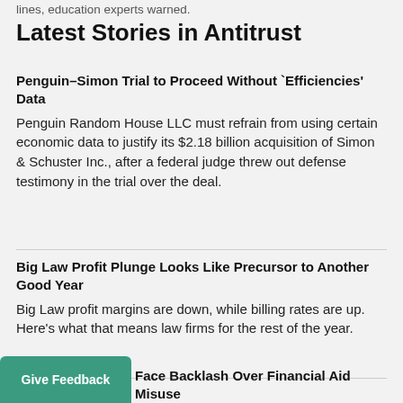lines, education experts warned.
Latest Stories in Antitrust
Penguin–Simon Trial to Proceed Without 'Efficiencies' Data
Penguin Random House LLC must refrain from using certain economic data to justify its $2.18 billion acquisition of Simon & Schuster Inc., after a federal judge threw out defense testimony in the trial over the deal.
Big Law Profit Plunge Looks Like Precursor to Another Good Year
Big Law profit margins are down, while billing rates are up. Here's what that means law firms for the rest of the year.
Face Backlash Over Financial Aid Misuse